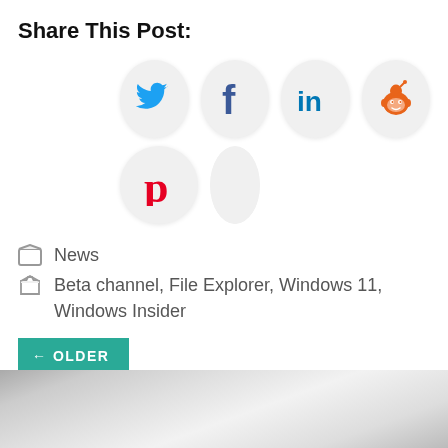Share This Post:
[Figure (infographic): Social share buttons in circular icons: Twitter (blue bird), Facebook (dark blue f), LinkedIn (blue in), Reddit (orange alien), Pinterest (red P), and a partially visible sixth icon.]
News
Beta channel, File Explorer, Windows 11, Windows Insider
← OLDER
[Figure (photo): Partially visible image with gray gradient background, bottom portion of page.]